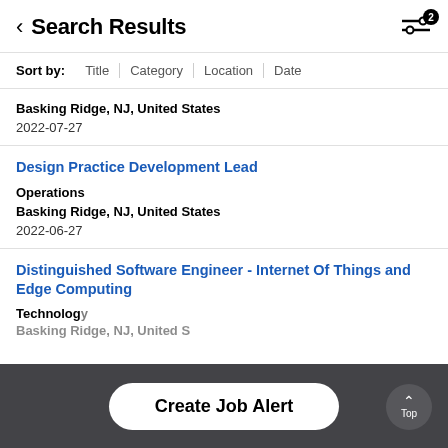Search Results
Sort by: Title | Category | Location | Date
Basking Ridge, NJ, United States
2022-07-27
Design Practice Development Lead
Operations
Basking Ridge, NJ, United States
2022-06-27
Distinguished Software Engineer - Internet Of Things and Edge Computing
Technology
Basking Ridge, NJ, United States
Create Job Alert